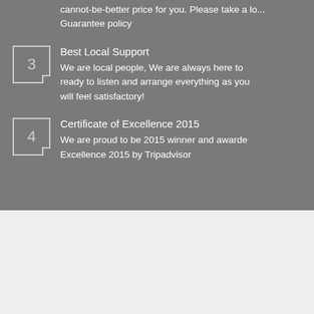cannot-be-better price for you. Please take a lo... Guarantee policy
3 Best Local Support
We are local people, We are always here to ready to listen and arrange everything as you will feel satisfactory!
4 Certificate of Excellence 2015
We are proud to be 2015 winner and awarde... Excellence 2015 by Tripadvisor
Join to get special offers & great promotion